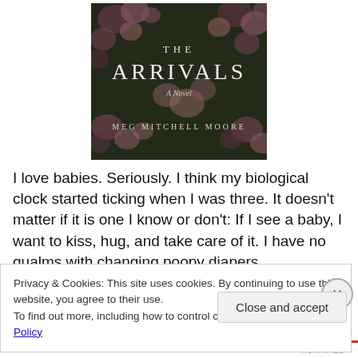[Figure (photo): Book cover of 'The Arrivals: A Novel' by Meg Mitchell Moore, featuring a dark floral background with pink roses and white serif text.]
I love babies. Seriously. I think my biological clock started ticking when I was three. It doesn't matter if it is one I know or don't: If I see a baby, I want to kiss, hug, and take care of it. I have no qualms with changing poopy diapers
Privacy & Cookies: This site uses cookies. By continuing to use this website, you agree to their use.
To find out more, including how to control cookies, see here: Cookie Policy
Close and accept